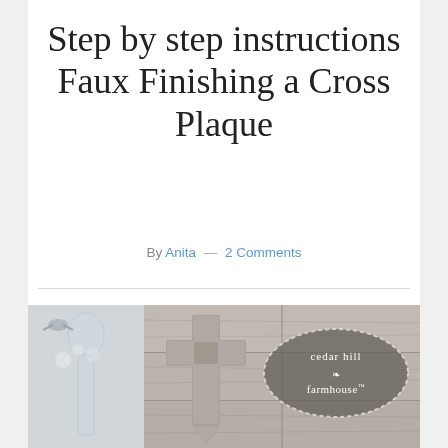Step by step instructions Faux Finishing a Cross Plaque
By Anita — 2 Comments
[Figure (photo): Photo of a rustic wooden cross plaque with faux finish against wood plank background, with cedar hill farmhouse logo oval overlay, and decorative glass bottles to the left side]